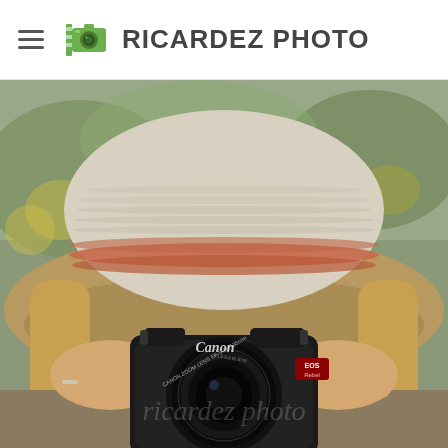[Figure (logo): Ricardez Photo logo with green camera icon and bold text RICARDEZ PHOTO]
[Figure (photo): A person wearing a wide-brimmed hat with red/orange stripe holding a Canon EOS DSLR camera up to their face, obscuring their face. Background is blurred green foliage. A watermark 'Ricardez photo' appears faintly on the image.]